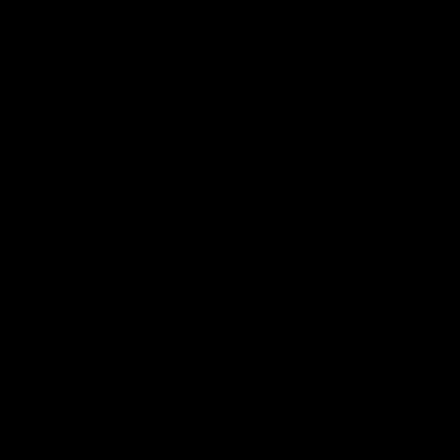[Figure (photo): Completely black page with no visible content. The entire page is filled with a solid black color.]